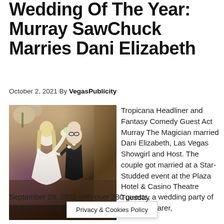Wedding Of The Year: Murray SawChuck Marries Dani Elizabeth
October 2, 2021 By VegasPublicity
[Figure (photo): Wedding photo of Murray SawChuck and Dani Elizabeth walking together. The bride wears a white gown and holds flowers; the groom wears a black tuxedo. They are smiling at a venue with warm lighting.]
Tropicana Headliner and Fantasy Comedy Guest Act Murray The Magician married Dani Elizabeth, Las Vegas Showgirl and Host. The couple got married at a Star-Studded event at the Plaza Hotel & Casino Theatre Tuesday September 28, 2021 with over 380 guests, a wedding party of 16, their rescue bearer,
Privacy & Cookies Policy